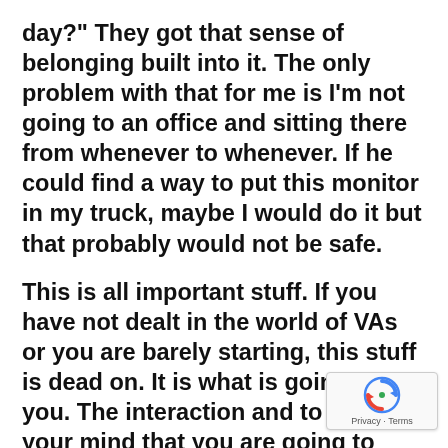day?" They got that sense of belonging built into it. The only problem with that for me is I'm not going to an office and sitting there from whenever to whenever. If he could find a way to put this monitor in my truck, maybe I would do it but that probably would not be safe.
This is all important stuff. If you have not dealt in the world of VAs or you are barely starting, this stuff is dead on. It is what is going to kill you. The interaction and to make up your mind that you are going to keep these people whether it be part-time or full-time. I do not see hardly any reason for anyone to have a part-time VA because there is so much to be done. If you have them part-time, they got to divide their time between you and someone else.
[Figure (other): Google reCAPTCHA badge with spinning arrows logo and 'Privacy - Terms' text]